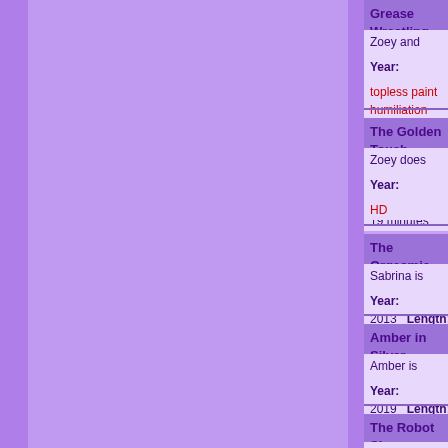Grease Wrestling Girls
Zoey and Penelope gets down and...
Year: 2020   Length: 35 minutes
topless paint humiliation HD
The Golden Touch
Zoey does her first gold paint shoo...
Year: 2020   Length: 19 minutes
HD
The Orgasmic Golden Statue
Sabrina is transformed into a golde...
Year: 2013   Length: 13 minutes
Amber in Silver
Amber is painted silver and shows...
Year: 2019   Length: 23 minutes
The Robot Slave
Amy is transformed into a sexy rob...
Year: 2019   Length: 30 minutes